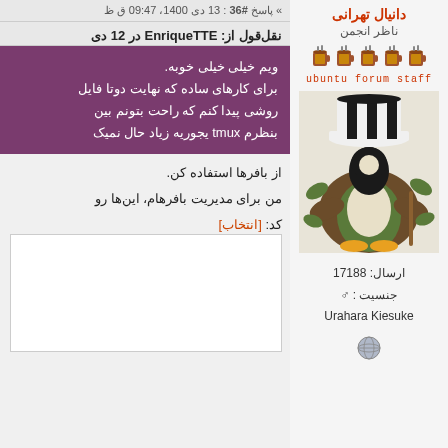پاسخ #36 : 13 دی 1400، 09:47 ق ظ
دانیال تهرانی
ناظر انجمن
ubuntu forum staff
[Figure (illustration): Cartoon penguin (Tux) dressed as Urahara Kisuke from Bleach anime, wearing striped hat and cloak]
نقل‌قول از: EnriqueTTE در 12 دی
ویم خیلی خیلی خوبه.
برای کارهای ساده که نهایت دوتا فایل
روشی پیدا کنم که راحت بتونم بین
بنظرم tmux یجوریه زیاد حال نمیک
از بافرها استفاده کن.
من برای مدیریت بافرهام، این‌ها رو
کد: [انتخاب]
ارسال: 17188
جنسیت : ♂
Urahara Kiesuke